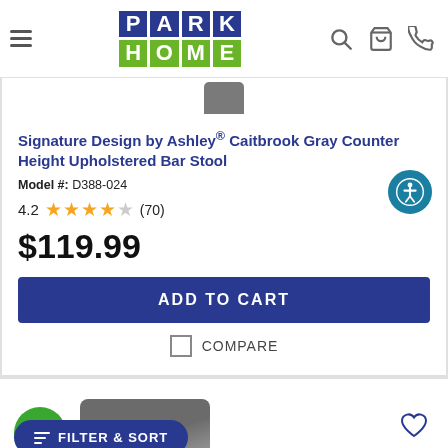Park Home logo with navigation icons (hamburger, search, cart, phone)
[Figure (screenshot): Partial product image of bar stool at top of product listing card]
Signature Design by Ashley® Caitbrook Gray Counter Height Upholstered Bar Stool
Model #: D388-024
4.2 ★★★★☆ (70)
$119.99
ADD TO CART
COMPARE
FILTER & SORT
[Figure (photo): Partial view of next product (gray bar stool) at bottom of page with green badge and heart icon]